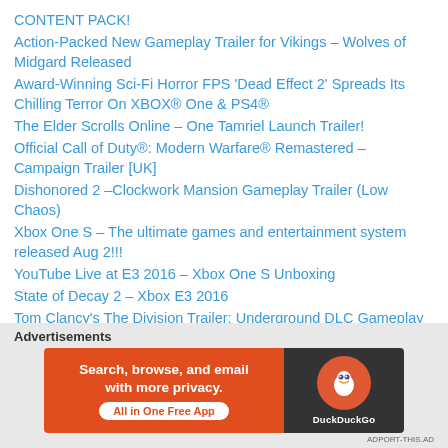CONTENT PACK!
Action-Packed New Gameplay Trailer for Vikings – Wolves of Midgard Released
Award-Winning Sci-Fi Horror FPS 'Dead Effect 2' Spreads Its Chilling Terror On XBOX® One & PS4®
The Elder Scrolls Online – One Tamriel Launch Trailer!
Official Call of Duty®: Modern Warfare® Remastered – Campaign Trailer [UK]
Dishonored 2 –Clockwork Mansion Gameplay Trailer (Low Chaos)
Xbox One S – The ultimate games and entertainment system released Aug 2!!!
YouTube Live at E3 2016 – Xbox One S Unboxing
State of Decay 2 – Xbox E3 2016
Tom Clancy's The Division Trailer: Underground DLC Gameplay – Expansion 1 – E3 2016 [US]
Xbox live will have Groups Soon!
Advertisements
[Figure (other): DuckDuckGo advertisement banner: orange background with text 'Search, browse, and email with more privacy. All in One Free App' and DuckDuckGo logo on dark background]